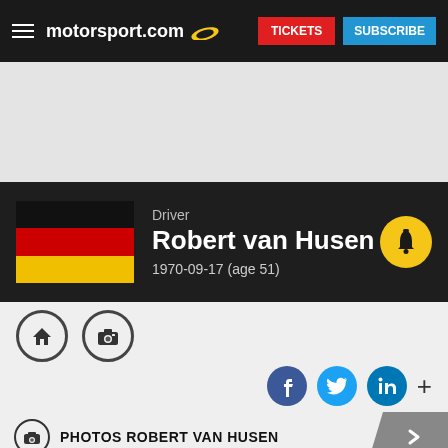motorsport.com — TICKETS | SUBSCRIBE
[Figure (screenshot): Advertisement banner area (gray background)]
Driver
Robert van Husen
1970-09-17 (age 51)
[Figure (infographic): Action icon buttons: home and camera]
[Figure (infographic): Social share buttons: Facebook, Twitter, LinkedIn, plus]
PHOTOS ROBERT VAN HUSEN
[Figure (photo): Racing circuit track photo on the left; forest/trees photo on the right]